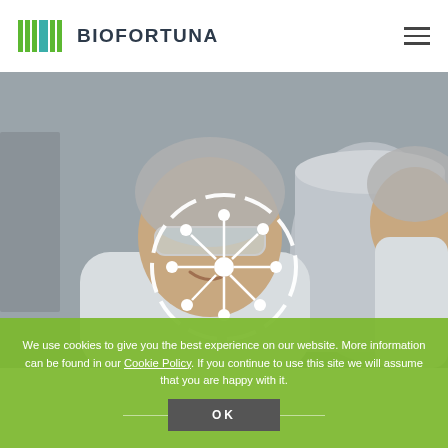[Figure (logo): Biofortuna logo: green and teal vertical bar stripes icon followed by bold dark text BIOFORTUNA]
[Figure (photo): Two laboratory workers wearing hairnets and safety goggles smiling, with large stainless steel equipment in background. A white molecular/network icon circle overlay is in the center of the image.]
We use cookies to give you the best experience on our website. More information can be found in our Cookie Policy. If you continue to use this site we will assume that you are happy with it.
OK
Lyophilisation